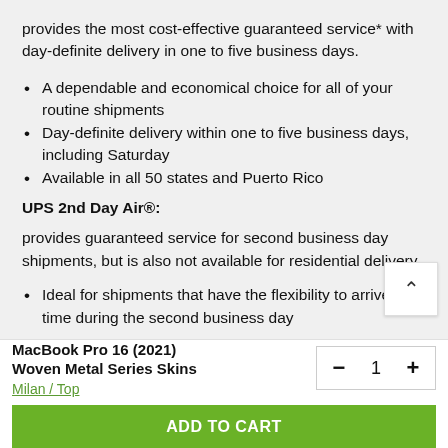provides the most cost-effective guaranteed service* with day-definite delivery in one to five business days.
A dependable and economical choice for all of your routine shipments
Day-definite delivery within one to five business days, including Saturday
Available in all 50 states and Puerto Rico
UPS 2nd Day Air®:
provides guaranteed service for second business day shipments, but is also not available for residential delivery.
Ideal for shipments that have the flexibility to arrive any time during the second business day
MacBook Pro 16 (2021) Woven Metal Series Skins
Milan / Top
ADD TO CART